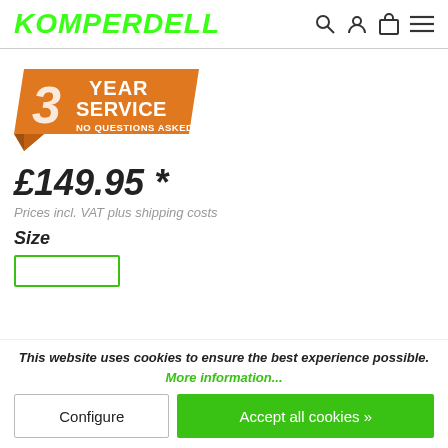KOMPERDELL
[Figure (illustration): Orange badge graphic with bold text: '3 YEAR SERVICE NO QUESTIONS ASKED']
£149.95 *
Prices incl. VAT plus shipping costs
Size
This website uses cookies to ensure the best experience possible. More information...
Configure
Accept all cookies »